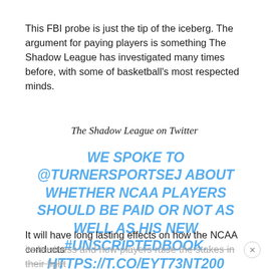This FBI probe is just the tip of the iceberg. The argument for paying players is something The Shadow League has investigated many times before, with some of basketball's most respected minds.
The Shadow League on Twitter
WE SPOKE TO @TURNERSPORTSEJ ABOUT WHETHER NCAA PLAYERS SHOULD BE PAID OR NOT AS WELL AS HIS NEW #UNSCRIPTEDBOOK. HTTPS://T.CO/EYT73NT200
It will have long lasting effects on how the NCAA conducts its business and how players raise the stakes in their fight for some fair monetary gain in the billion-dollar industry of